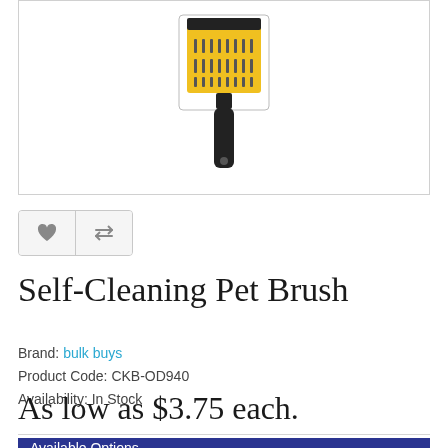[Figure (photo): Product photo of a self-cleaning pet brush with yellow rectangular head with metal tines and black handle, displayed inside a bordered image box]
[Figure (other): Two icon buttons: a heart (wishlist) icon and a compare/arrows icon, in a gray rounded-rectangle button group]
Self-Cleaning Pet Brush
Brand: bulk buys
Product Code: CKB-OD940
Availability: In Stock
As low as $3.75 each.
Available Options